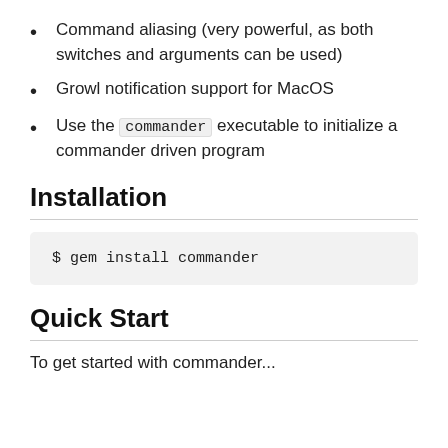Command aliasing (very powerful, as both switches and arguments can be used)
Growl notification support for MacOS
Use the commander executable to initialize a commander driven program
Installation
$ gem install commander
Quick Start
To get started with commander...